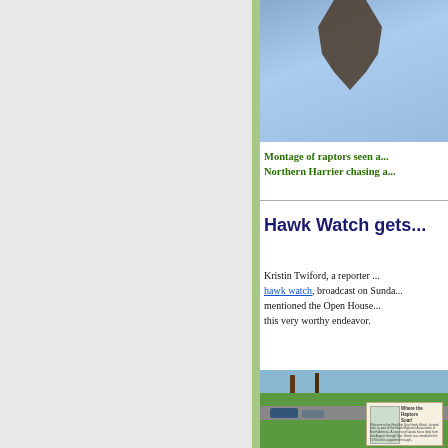[Figure (photo): Photo of a bird (raptor) against a blue sky, cropped at top of page, showing dark feathered tail/wing]
Montage of raptors seen a... Northern Harrier chasing a...
Hawk Watch gets...
Kristin Twiford, a reporter ... hawk watch, broadcast on Sunda... mentioned the Open House... this very worthy endeavor.
[Figure (photo): Outdoor photo showing a park area with grass, road, trees, cars, and a sign reading 'Where the Raptors Soar!' with the Rockfish Gap Hawk Watch sign]